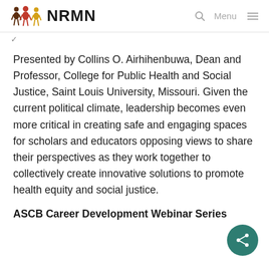NRMN
Presented by Collins O. Airhihenbuwa, Dean and Professor, College for Public Health and Social Justice, Saint Louis University, Missouri. Given the current political climate, leadership becomes even more critical in creating safe and engaging spaces for scholars and educators opposing views to share their perspectives as they work together to collectively create innovative solutions to promote health equity and social justice.
ASCB Career Development Webinar Series